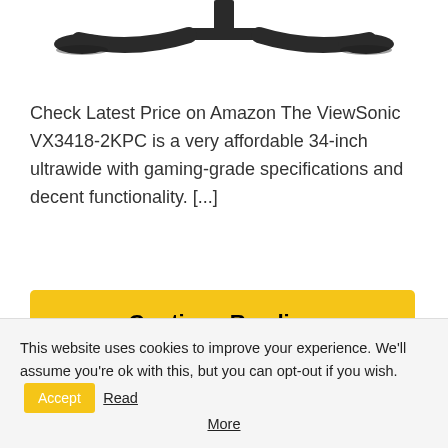[Figure (photo): Bottom portion of a monitor stand/base, dark gray/black color against white background]
Check Latest Price on Amazon The ViewSonic VX3418-2KPC is a very affordable 34-inch ultrawide with gaming-grade specifications and decent functionality. [...]
Continue Reading
This website uses cookies to improve your experience. We'll assume you're ok with this, but you can opt-out if you wish. Accept Read More